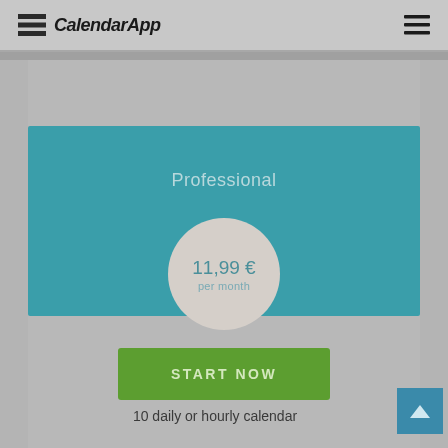CalendarApp
Professional
11,99 € per month
START NOW
10 daily or hourly calendar